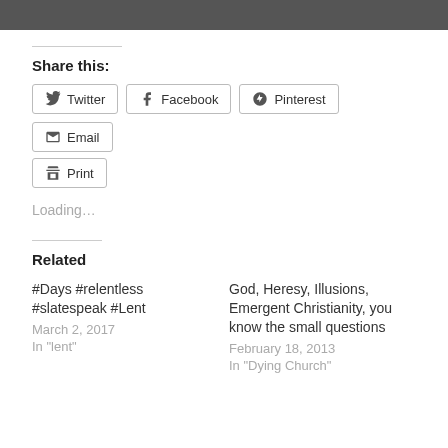[Figure (other): Gray bar at top of page]
Share this:
Twitter  Facebook  Pinterest  Email  Print
Loading...
Related
#Days #relentless #slatespeak #Lent
March 2, 2017
In "lent"
God, Heresy, Illusions, Emergent Christianity, you know the small questions
February 18, 2013
In "Dying Church"